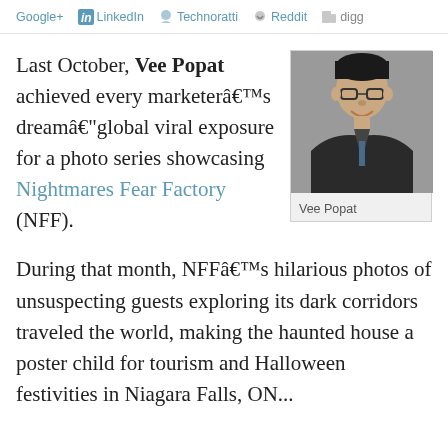Google+  in LinkedIn  Technoratti  Reddit  digg
Last October, Vee Popat achieved every marketerâ€™s dreamâ€"global viral exposure for a photo series showcasing Nightmares Fear Factory (NFF).
[Figure (photo): Headshot photo of Vee Popat, a man with glasses and dark hair wearing a suit jacket, with caption 'Vee Popat']
During that month, NFFâ€™s hilarious photos of unsuspecting guests exploring its dark corridors traveled the world, making the haunted house a poster child for tourism and Halloween festivities. Niagara Falls, ON...